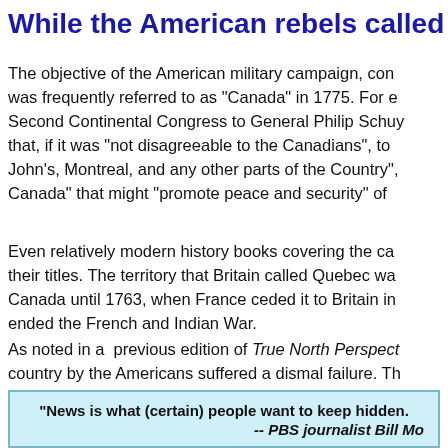While the American rebels called us
The objective of the American military campaign, con was frequently referred to as "Canada" in 1775. For e Second Continental Congress to General Philip Schuy that, if it was "not disagreeable to the Canadians", to John's, Montreal, and any other parts of the Country", Canada" that might "promote peace and security" of
Even relatively modern history books covering the ca their titles. The territory that Britain called Quebec wa Canada until 1763, when France ceded it to Britain in ended the French and Indian War.
As noted in a  previous edition of True North Perspect country by the Americans suffered a dismal failure. Th American plans. The Americans went home after loss
"News is what (certain) people want to keep hidden.
-- PBS journalist Bill Mo